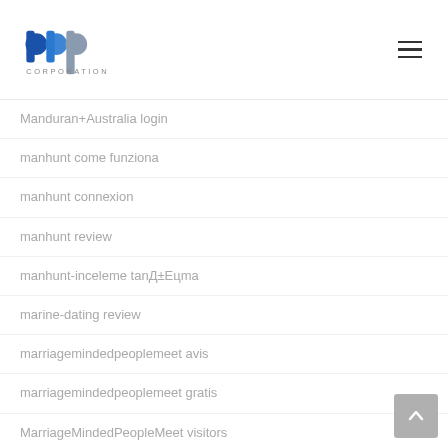[Figure (logo): BBP Corporation logo with blue and grey stylized letters and CORPORATION text below]
Manduran+Australia login
manhunt come funziona
manhunt connexion
manhunt review
manhunt-inceleme tanД±Eцma
marine-dating review
marriagemindedpeoplemeet avis
marriagemindedpeoplemeet gratis
MarriageMindedPeopleMeet visitors
married-dating-philadelphia-pennsylvania sign in